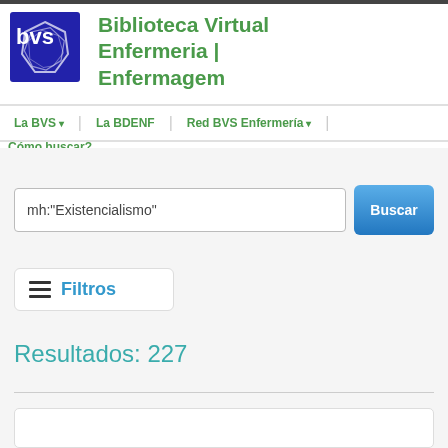[Figure (logo): BVS (Biblioteca Virtual de Salud) logo — white 'bvs' letters on dark blue/navy background with white geometric hexagon/octagon shape]
Biblioteca Virtual Enfermeria | Enfermagem
La BVS ▾   La BDENF   Red BVS Enfermería ▾   Cómo buscar?
mh:"Existencialismo"
Buscar
☰ Filtros
Resultados: 227